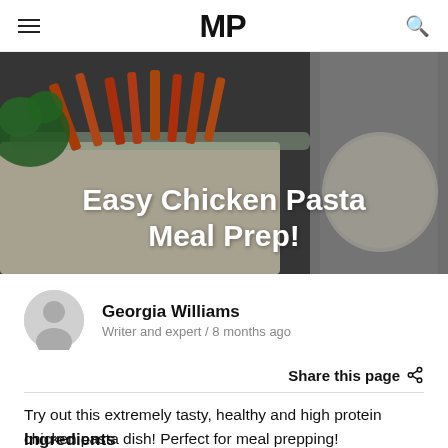MP
[Figure (photo): Food photo showing a glass meal-prep container with rice, orange/red bell pepper strips, and broccoli, with the article title 'Easy Chicken Pasta Meal Prep!' overlaid in white bold text]
Easy Chicken Pasta Meal Prep!
Georgia Williams
Writer and expert / 8 months ago
Share this page
Try out this extremely tasty, healthy and high protein chicken pasta dish! Perfect for meal prepping!
Ingredients